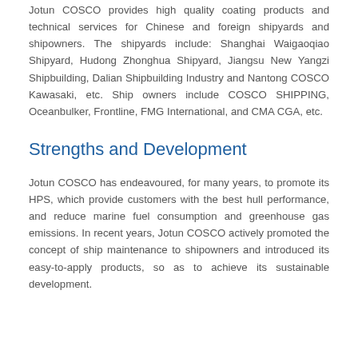Jotun COSCO provides high quality coating products and technical services for Chinese and foreign shipyards and shipowners. The shipyards include: Shanghai Waigaoqiao Shipyard, Hudong Zhonghua Shipyard, Jiangsu New Yangzi Shipbuilding, Dalian Shipbuilding Industry and Nantong COSCO Kawasaki, etc. Ship owners include COSCO SHIPPING, Oceanbulker, Frontline, FMG International, and CMA CGA, etc.
Strengths and Development
Jotun COSCO has endeavoured, for many years, to promote its HPS, which provide customers with the best hull performance, and reduce marine fuel consumption and greenhouse gas emissions. In recent years, Jotun COSCO actively promoted the concept of ship maintenance to shipowners and introduced its easy-to-apply products, so as to achieve its sustainable development.